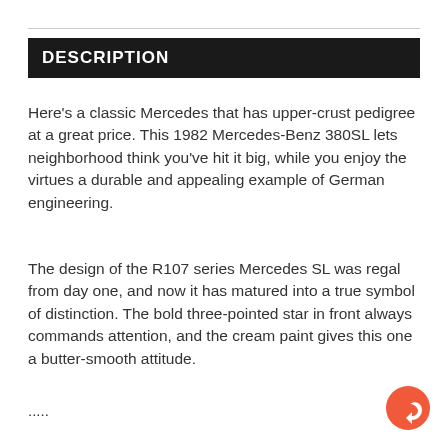DESCRIPTION
Here's a classic Mercedes that has upper-crust pedigree at a great price. This 1982 Mercedes-Benz 380SL lets neighborhood think you've hit it big, while you enjoy the virtues a durable and appealing example of German engineering.
The design of the R107 series Mercedes SL was regal from day one, and now it has matured into a true symbol of distinction. The bold three-pointed star in front always commands attention, and the cream paint gives this one a butter-smooth attitude.
.....
[Figure (other): Orange circular share/reply button icon in bottom-right corner]